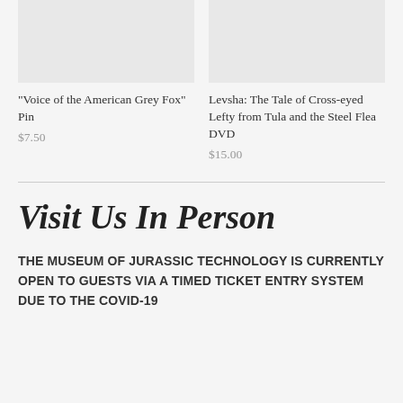[Figure (photo): Product image placeholder for Voice of the American Grey Fox Pin]
"Voice of the American Grey Fox" Pin
$7.50
[Figure (photo): Product image placeholder for Levsha DVD]
Levsha: The Tale of Cross-eyed Lefty from Tula and the Steel Flea DVD
$15.00
Visit Us In Person
THE MUSEUM OF JURASSIC TECHNOLOGY IS CURRENTLY OPEN TO GUESTS VIA A TIMED TICKET ENTRY SYSTEM DUE TO THE COVID-19